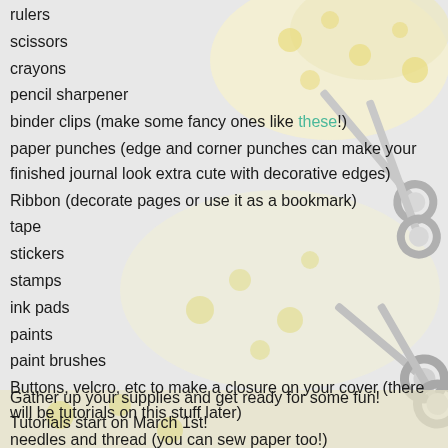rulers
scissors
crayons
pencil sharpener
binder clips (make some fancy ones like these!)
paper punches (edge and corner punches can make your finished journal look extra cute with decorative edges)
Ribbon (decorate pages or use it as a bookmark)
tape
stickers
stamps
ink pads
paints
paint brushes
Buttons, velcro, etc to make a closure on your cover (there will be tutorials on this stuff later)
needles and thread (you can sew paper too!)
Gather up your supplies and get ready for some fun! Tutorials start on March 1st!